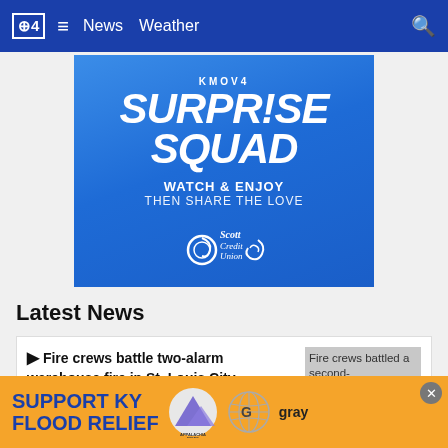CBS4 ≡ News Weather 🔍
[Figure (advertisement): KMOV4 Surprise Squad advertisement with Scott Credit Union sponsorship. Blue background with bold white text: KMOV4, SURPRISE SQUAD, WATCH & ENJOY, THEN SHARE THE LOVE, Scott Credit Union logo with swirl.]
Latest News
▶ Fire crews battle two-alarm warehouse fire in St. Louis City
[Figure (photo): Fire crews battled a second- ... St. ... rly]
[Figure (advertisement): SUPPORT KY FLOOD RELIEF - Appalachia Rises mountain logo, Gray TV logo - with close button]